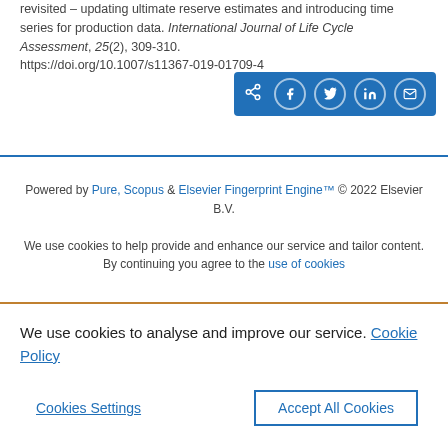revisited – updating ultimate reserve estimates and introducing time series for production data. International Journal of Life Cycle Assessment, 25(2), 309-310. https://doi.org/10.1007/s11367-019-01709-4
[Figure (other): Social share button bar with icons for share, Facebook, Twitter, LinkedIn, and email on a blue background]
Powered by Pure, Scopus & Elsevier Fingerprint Engine™ © 2022 Elsevier B.V.
We use cookies to help provide and enhance our service and tailor content. By continuing you agree to the use of cookies
We use cookies to analyse and improve our service. Cookie Policy
Cookies Settings    Accept All Cookies